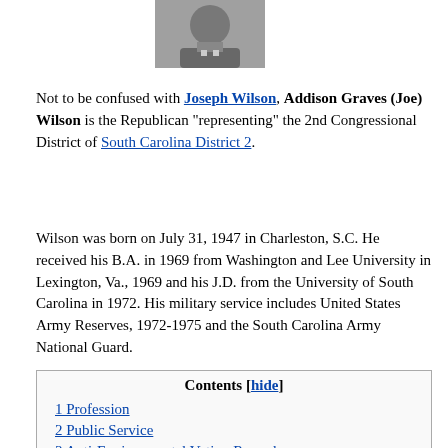[Figure (photo): Black and white headshot photo of Joe Wilson]
Not to be confused with Joseph Wilson, Addison Graves (Joe) Wilson is the Republican "representing" the 2nd Congressional District of South Carolina District 2.
Wilson was born on July 31, 1947 in Charleston, S.C. He received his B.A. in 1969 from Washington and Lee University in Lexington, Va., 1969 and his J.D. from the University of South Carolina in 1972. His military service includes United States Army Reserves, 1972-1975 and the South Carolina Army National Guard.
| Contents [hide] |
| 1 Profession |
| 2 Public Service |
| 3 Anti-Environmental Voting Record |
| 4 Health Industry Lobbying |